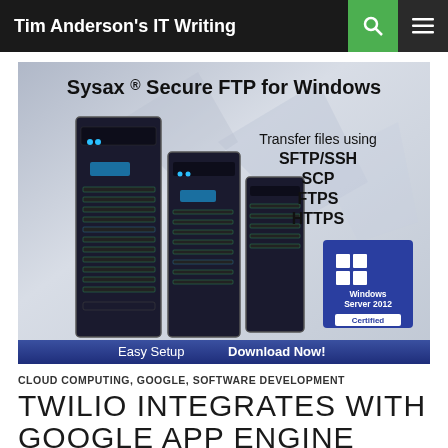Tim Anderson's IT Writing
[Figure (illustration): Sysax Secure FTP for Windows advertisement banner showing server rack hardware. Text reads: 'Sysax ® Secure FTP for Windows – Transfer files using SFTP/SSH, SCP, FTPS, HTTPS – Windows Server 2012 Certified – Easy Setup Download Now!']
CLOUD COMPUTING, GOOGLE, SOFTWARE DEVELOPMENT
TWILIO INTEGRATES WITH GOOGLE APP ENGINE FOR